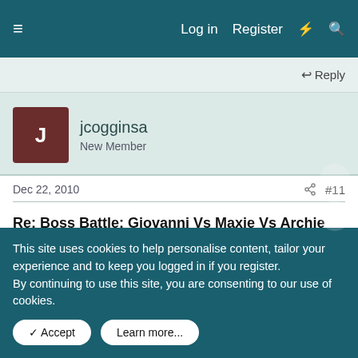≡    Log in   Register   ⚡   🔍
↩ Reply
[Figure (other): User avatar for jcogginsa showing letter J on dark red background]
jcogginsa
New Member
Dec 22, 2010   #11
Re: Boss Battle: Giovanni Vs Maxie Vs Archie Vs Cyrus Vs Archer Vs Greechis Vs Greevi
Orion-sama said: ↑
Um... the Don VS the Well-Intentioned Extremists VS the Nietzsche
This site uses cookies to help personalise content, tailor your experience and to keep you logged in if you register.
By continuing to use this site, you are consenting to our use of cookies.